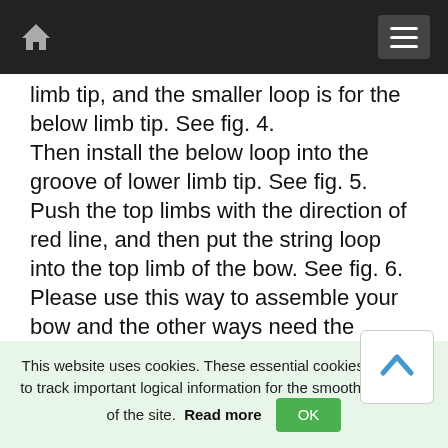Navigation bar with home icon and menu icon
limb tip, and the smaller loop is for the below limb tip. See fig. 4.
Then install the below loop into the groove of lower limb tip. See fig. 5. Push the top limbs with the direction of red line, and then put the string loop into the top limb of the bow. See fig. 6.
Please use this way to assemble your bow and the other ways need the guidance of the archery professionals.
Peeling off the film behind the arrow rest and then stick it onto the arrow plate position according to fig. 7.
This website uses cookies. These essential cookies are used to track important logical information for the smooth operation of the site. Read more OK